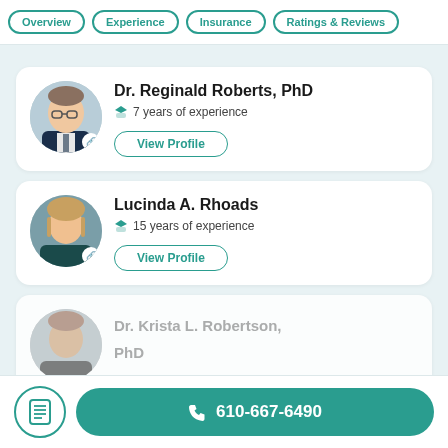Overview | Experience | Insurance | Ratings & Reviews
Dr. Reginald Roberts, PhD · 7 years of experience
View Profile
Lucinda A. Rhoads · 15 years of experience
View Profile
Dr. Krista L. Robertson, PhD
610-667-6490